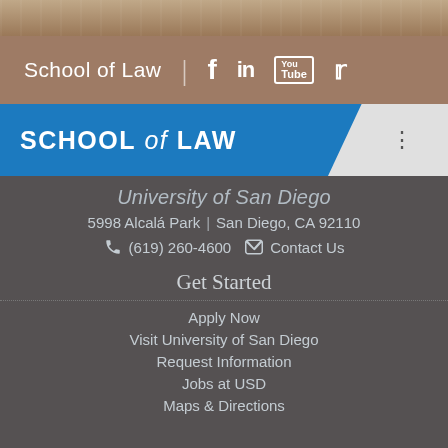[Figure (photo): Aerial photo strip of university campus buildings]
School of Law  |  f  in  You
SCHOOL of LAW
University of San Diego
5998 Alcalá Park  |  San Diego, CA 92110
(619) 260-4600   Contact Us
Get Started
Apply Now
Visit University of San Diego
Request Information
Jobs at USD
Maps & Directions